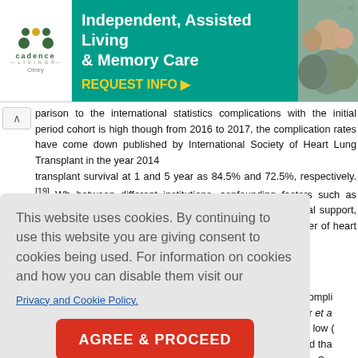[Figure (other): Advertisement banner for Cadence Living - Independent, Assisted Living & Memory Care, Olney. Green and white with teal background and photo of elderly people.]
parison to the international statistics complications with the initial period cohort is high though from 2016 to 2017, the complication rates have come down published by International Society of Heart Lung Transplant in the year 2014 transplant survival at 1 and 5 year as 84.5% and 72.5%, respectively.[19] Wh between different institutions, confounding factors such as surgical expertise, so recipients, ethnicity, postsurgery social support, and cost of treatment influe association of the annual number of heart transplants and outcomes at a center
This website uses cookies. By continuing to use this website you are giving consent to cookies being used. For information on cookies and how you can disable them visit our
Privacy and Cookie Policy.
AGREE & PROCEED